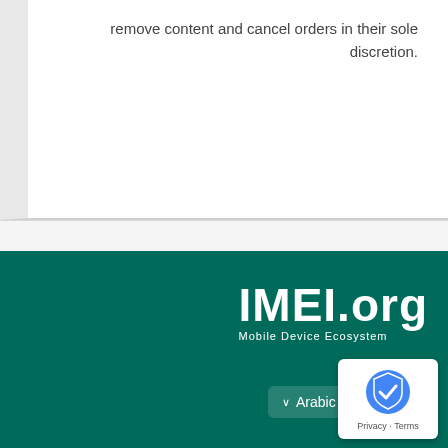remove content and cancel orders in their sole discretion.
[Figure (logo): IMEI.org logo with text 'Mobile Device Ecosystem' on dark teal background]
اختر اللغة
Arabic (